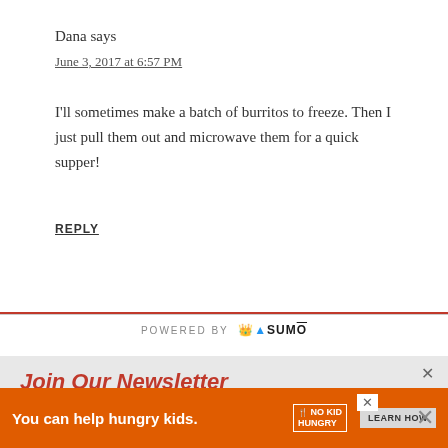Dana says
June 3, 2017 at 6:57 PM
I'll sometimes make a batch of burritos to freeze. Then I just pull them out and microwave them for a quick supper!
REPLY
[Figure (screenshot): POWERED BY SUMO bar with logo]
Join Our Newsletter
Free Delivery! Receive previews of recipes, printables, and other fun news.
Enter your email address
[Figure (screenshot): Advertisement bar: You can help hungry kids. NO KID HUNGRY logo and LEARN HOW button on dark background]